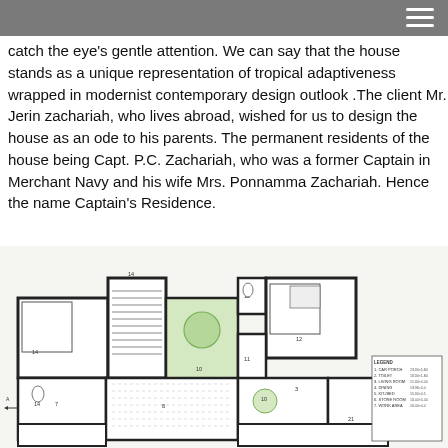catch the eye's gentle attention. We can say that the house stands as a unique representation of tropical adaptiveness wrapped in modernist contemporary design outlook .The client Mr. Jerin zachariah, who lives abroad, wished for us to design the house as an ode to his parents. The permanent residents of the house being Capt. P.C. Zachariah, who was a former Captain in Merchant Navy and his wife Mrs. Ponnamma Zachariah. Hence the name Captain's Residence.
[Figure (engineering-diagram): Architectural floor plan of Captain's Residence showing room layout with numbered rooms, stairs, bathrooms, and a legend listing room names and dimensions. A compass symbol is visible in the upper right of the plan area.]